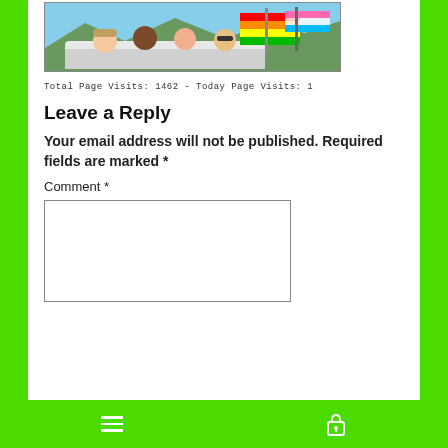[Figure (photo): Group of young people in a car holding colorful rainbow flags outdoors]
Total Page Visits: 1462 - Today Page Visits: 1
Leave a Reply
Your email address will not be published. Required fields are marked *
Comment *
[Figure (other): Comment text input box (empty)]
Hamburger menu icon and lock icon on green footer bar